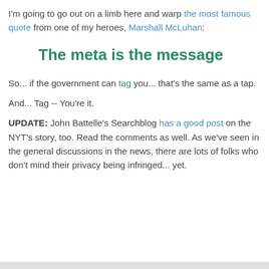I'm going to go out on a limb here and warp the most famous quote from one of my heroes, Marshall McLuhan:
The meta is the message
So... if the government can tag you... that's the same as a tap.
And... Tag -- You're it.
UPDATE: John Battelle's Searchblog has a good post on the NYT's story, too. Read the comments as well. As we've seen in the general discussions in the news, there are lots of folks who don't mind their privacy being infringed... yet.